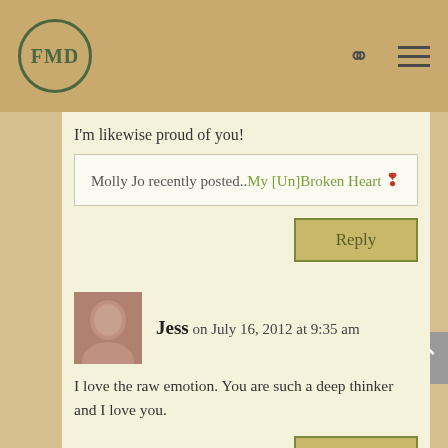[Figure (logo): FMD circular logo with dark green border and text]
I'm likewise proud of you!
Molly Jo recently posted..My [Un]Broken Heart 🕊
Reply
Jess on July 16, 2012 at 9:35 am
I love the raw emotion. You are such a deep thinker and I love you.
Reply